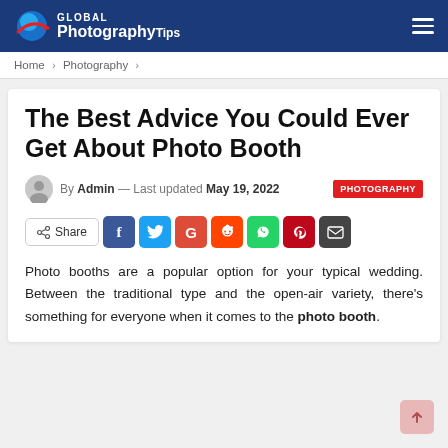Global Photography Tips
Home > Photography >
The Best Advice You Could Ever Get About Photo Booth
By Admin — Last updated May 19, 2022  PHOTOGRAPHY
[Figure (infographic): Social share buttons row: Share, Facebook, Twitter, Google+, Reddit, WhatsApp, Pinterest, Email]
Photo booths are a popular option for your typical wedding. Between the traditional type and the open-air variety, there's something for everyone when it comes to the photo booth.